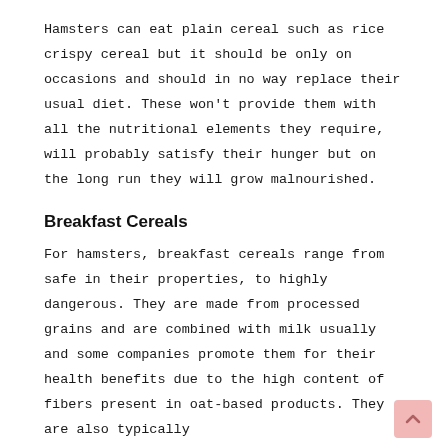Hamsters can eat plain cereal such as rice crispy cereal but it should be only on occasions and should in no way replace their usual diet. These won't provide them with all the nutritional elements they require, will probably satisfy their hunger but on the long run they will grow malnourished.
Breakfast Cereals
For hamsters, breakfast cereals range from safe in their properties, to highly dangerous. They are made from processed grains and are combined with milk usually and some companies promote them for their health benefits due to the high content of fibers present in oat-based products. They are also typically